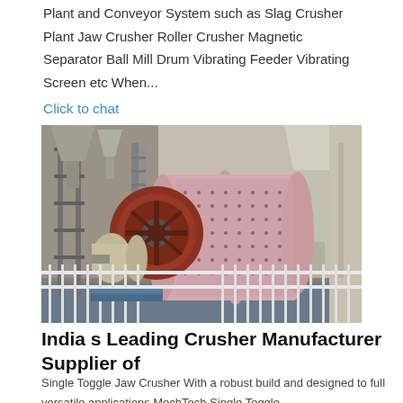Plant and Conveyor System such as Slag Crusher Plant Jaw Crusher Roller Crusher Magnetic Separator Ball Mill Drum Vibrating Feeder Vibrating Screen etc When...
Click to chat
[Figure (photo): Industrial ball mill or drum crusher machine in a factory setting, with metal railings in the foreground and large industrial silos and structures in the background.]
India s Leading Crusher Manufacturer Supplier of
Single Toggle Jaw Crusher With a robust build and designed to full versatile applications MechTech Single Toggle...